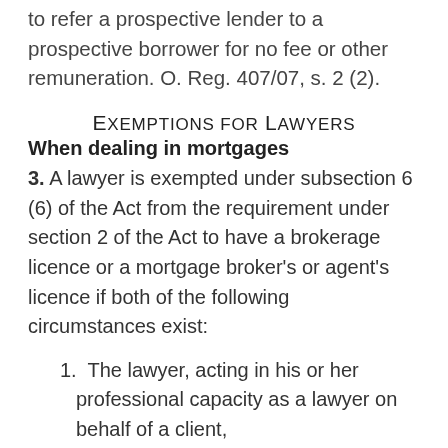to refer a prospective lender to a prospective borrower for no fee or other remuneration. O. Reg. 407/07, s. 2 (2).
Exemptions for Lawyers
When dealing in mortgages
3. A lawyer is exempted under subsection 6 (6) of the Act from the requirement under section 2 of the Act to have a brokerage licence or a mortgage broker's or agent's licence if both of the following circumstances exist:
1. The lawyer, acting in his or her professional capacity as a lawyer on behalf of a client,
i. solicits a person or entity to lend money on the security of real property, or